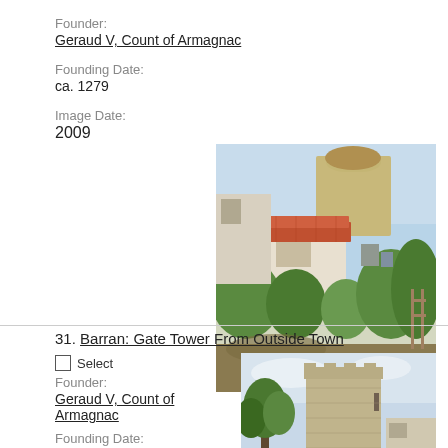Founder:
Geraud V, Count of Armagnac
Founding Date:
ca. 1279
Image Date:
2009
[Figure (photo): Photograph of a stone building with terracotta tile roof surrounded by lush garden vegetation, with a rounded stone tower visible in the background against a blue sky.]
31. Barran: Gate Tower From Outside Town
Select
Founder:
Geraud V, Count of Armagnac
Founding Date:
ca. 1279
[Figure (photo): Photograph of a stone gate tower viewed from outside the town of Barran, with trees visible to the left and a cloudy sky background.]